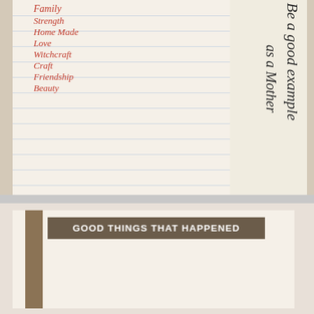[Figure (photo): Open notebook showing two pages. Left page has a handwritten list in red/pink cursive: Family, Strength, Home Made, Love, Witchcraft, Craft, Friendship, Beauty. Right page has handwritten text rotated 90 degrees reading 'Be a good example' and 'as a Mother'.]
[Figure (photo): Partial photo of a printed sign or book page with a dark brown banner reading 'GOOD THINGS THAT HAPPENED' in bold white capital letters.]